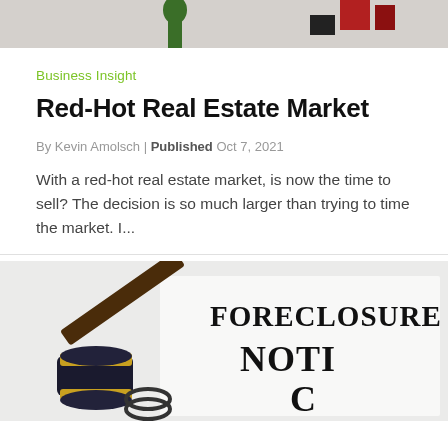[Figure (photo): Partial top of image showing real estate related imagery with colored bars/elements on a gray background]
Business Insight
Red-Hot Real Estate Market
By Kevin Amolsch | Published Oct 7, 2021
With a red-hot real estate market, is now the time to sell? The decision is so much larger than trying to time the market. I...
[Figure (photo): Photo of a judge's gavel next to a document with FORECLOSURE NOTICE text]